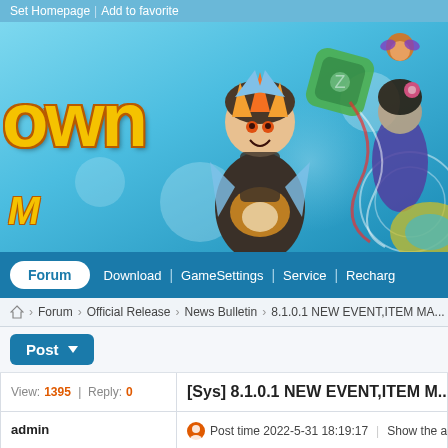Set Homepage | Add to favorite
[Figure (illustration): Game banner with anime-style characters including an armored character with orange horns, game logo text 'own' and 'M' on a light blue background with decorative elements]
Forum | Download | GameSettings | Service | Recharge
Forum > Official Release > News Bulletin > 8.1.0.1 NEW EVENT,ITEM MA...
Post
|  | Title |
| --- | --- |
| View: 1395 | Reply: 0 | [Sys] 8.1.0.1 NEW EVENT,ITEM M... |
| admin | Post time 2022-5-31 18:19:17 | Show the autho... |